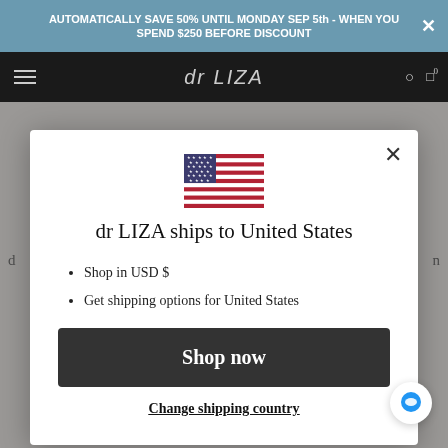AUTOMATICALLY SAVE 50% UNTIL MONDAY SEP 5th - WHEN YOU SPEND $250 BEFORE DISCOUNT
[Figure (screenshot): dr LIZA brand navigation bar on dark background]
[Figure (illustration): United States flag emoji/icon]
dr LIZA ships to United States
Shop in USD $
Get shipping options for United States
Shop now
Change shipping country
platform, a rocker sole to alleviate metatarsal pressure, a rubber outsole and a deep heel cup to remedy pronation.